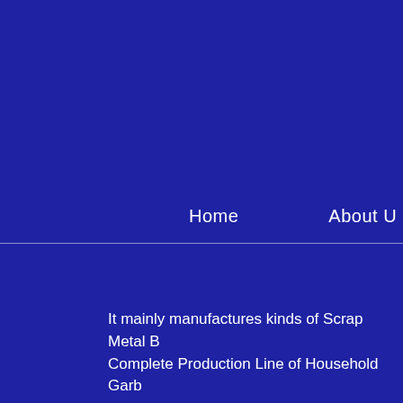Home   About U
It mainly manufactures kinds of Scrap Metal B Complete Production Line of Household Garb